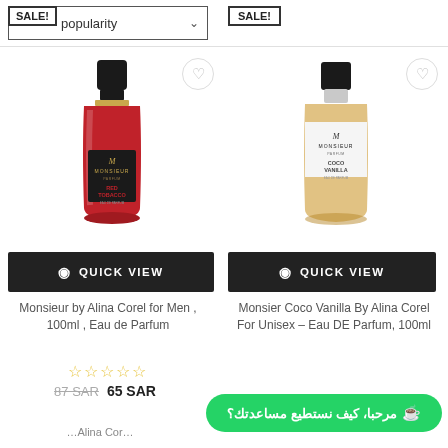[Figure (screenshot): SALE! badge over sort-by-popularity dropdown on the left product column top]
[Figure (screenshot): SALE! badge on the right product column top]
[Figure (photo): Monsieur Parfum Red Tobacco perfume bottle - red glass bottle with black cap and gold detail]
[Figure (photo): Monsieur Parfum Coco Vanilla perfume bottle - clear/amber bottle with black cap]
QUICK VIEW
QUICK VIEW
Monsieur by Alina Corel for Men , 100ml , Eau de Parfum
Monsier Coco Vanilla By Alina Corel For Unisex – Eau DE Parfum, 100ml
87 SAR  65 SAR
34 SAR  18 SAR (partially visible)
مرحبا، كيف نستطيع مساعدتك؟